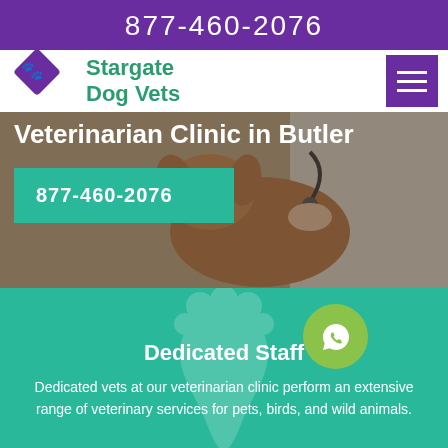877-460-2076
Stargate Dog Vets
[Figure (screenshot): Hero image of a veterinarian examining a dog with a stethoscope]
Veterinarian Clinic in Butler
877-460-2076
[Figure (illustration): Tooth/paw icon watermark background on teal section]
Dedicated Staff
Dedicated vets at our veterinarian clinic perform an extensive range of veterinary services for pets, birds, and wild animals.